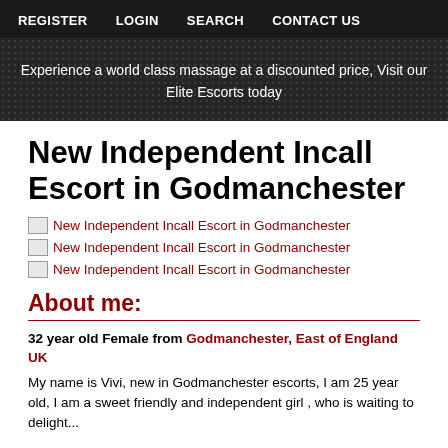REGISTER   LOGIN   SEARCH   CONTACT US
Experience a world class massage at a discounted price, Visit our Elite Escorts today
New Independent Incall Escort in Godmanchester
[Figure (other): Broken image link: New Independent Incall Escort in Godmanchester]
[Figure (other): Broken image link: New Independent Incall Escort in Godmanchester]
[Figure (other): Broken image link: New Independent Incall Escort in Godmanchester]
About me:
32 year old Female from Godmanchester, East of England UK
My name is Vivi, new in Godmanchester escorts, I am 25 year old, I am a sweet friendly and independent girl , who is waiting to delight...